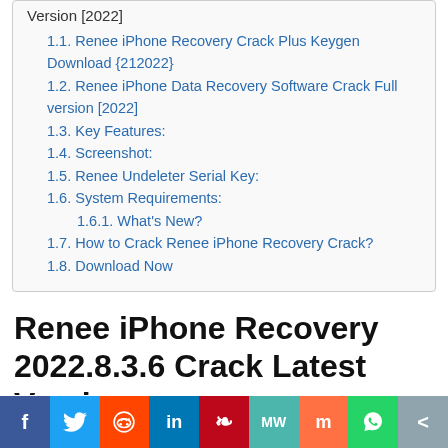Version [2022]
1.1. Renee iPhone Recovery Crack Plus Keygen Download {212022}
1.2. Renee iPhone Data Recovery Software Crack Full version [2022]
1.3. Key Features:
1.4. Screenshot:
1.5. Renee Undeleter Serial Key:
1.6. System Requirements:
1.6.1. What's New?
1.7. How to Crack Renee iPhone Recovery Crack?
1.8. Download Now
Renee iPhone Recovery 2022.8.3.6 Crack Latest Version